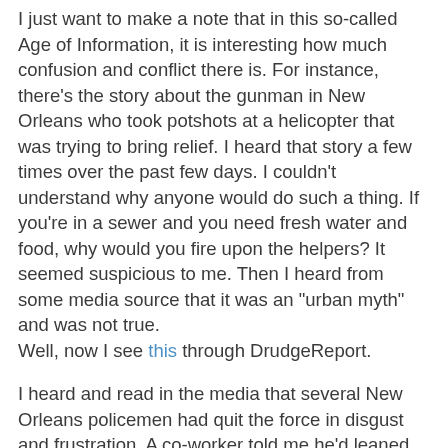I just want to make a note that in this so-called Age of Information, it is interesting how much confusion and conflict there is. For instance, there's the story about the gunman in New Orleans who took potshots at a helicopter that was trying to bring relief. I heard that story a few times over the past few days. I couldn't understand why anyone would do such a thing. If you're in a sewer and you need fresh water and food, why would you fire upon the helpers? It seemed suspicious to me. Then I heard from some media source that it was an "urban myth" and was not true.
Well, now I see this through DrudgeReport.
I heard and read in the media that several New Orleans policemen had quit the force in disgust and frustration. A co-worker told me he'd leaned that was a false report (although some had committed suicide in despair).
And all the while, there are those who argue the blame for this disaster lies with the local authorities, and there are others who argue the blame lies with the federal level and the president.